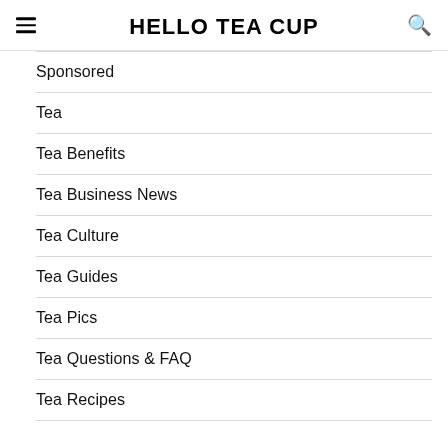HELLO TEA CUP
Sponsored
Tea
Tea Benefits
Tea Business News
Tea Culture
Tea Guides
Tea Pics
Tea Questions & FAQ
Tea Recipes